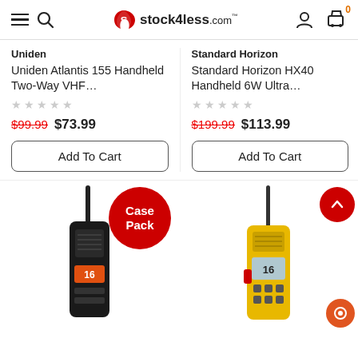stock4less.com
Uniden
Uniden Atlantis 155 Handheld Two-Way VHF…
$99.99  $73.99
Standard Horizon
Standard Horizon HX40 Handheld 6W Ultra…
$199.99  $113.99
[Figure (photo): Two product cards with Add To Cart buttons for Uniden Atlantis 155 and Standard Horizon HX40 handheld VHF radios]
[Figure (photo): Bottom section showing two handheld VHF radios (black and yellow) with a red Case Pack badge overlay and back-to-top button]